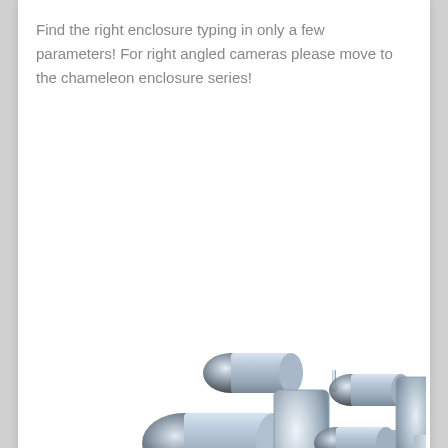Find the right enclosure typing in only a few parameters! For right angled cameras please move to the chameleon enclosure series!
[Figure (photo): Two groups of stainless steel hygienic pipe fittings/connectors with multiple tube openings, displayed on white background]
Hygiene Configurator
Find the right hygienic enclosure typing in only a few parameters!